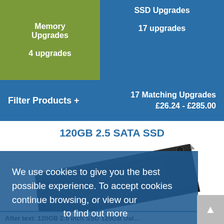Memory Upgrades
4 upgrades
SSD Upgrades
17 upgrades
Filter Products +
17 Matching Upgrades
£26.24 - £285.00
120GB 2.5 SATA SSD
[Figure (photo): A black 2.5 inch SATA SSD drive shown at an angle]
For Illustration Purpose Only
We use cookies to give you the best possible experience. To accept cookies continue browsing, or view our [cookie policy] to find out more
X
After text: 120GB 2.5 inch SSD...